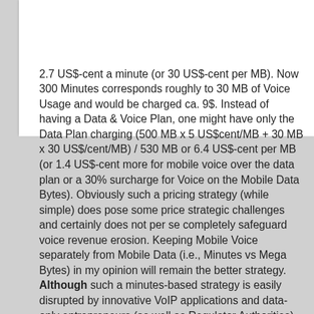2.7 US$-cent a minute (or 30 US$-cent per MB). Now 300 Minutes corresponds roughly to 30 MB of Voice Usage and would be charged ca. 9$. Instead of having a Data & Voice Plan, one might have only the Data Plan charging (500 MB x 5 US$cent/MB + 30 MB x 30 US$/cent/MB) / 530 MB or 6.4 US$-cent per MB (or 1.4 US$-cent more for mobile voice over the data plan or a 30% surcharge for Voice on the Mobile Data Bytes). Obviously such a pricing strategy (while simple) does pose some price strategic challenges and certainly does not per se completely safeguard voice revenue erosion. Keeping Mobile Voice separately from Mobile Data (i.e., Minutes vs Mega Bytes) in my opinion will remain the better strategy. Although such a minutes-based strategy is easily disrupted by innovative VoIP applications and data-only entrepreneurs (as well as Regulator Authorities).